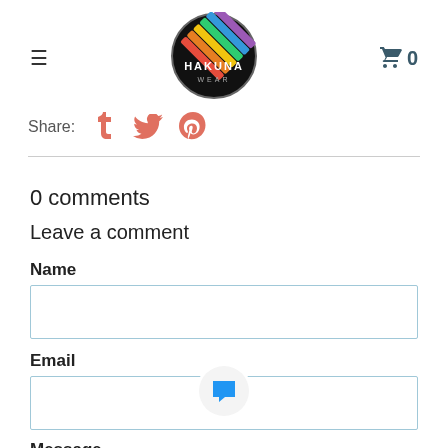[Figure (logo): Hakuna Wear circular logo with rainbow stripes on black background]
Share:
[Figure (infographic): Social share icons: Facebook (tumblr-style T), Twitter bird, Pinterest P — all in salmon/coral color]
0 comments
Leave a comment
Name
Email
Message